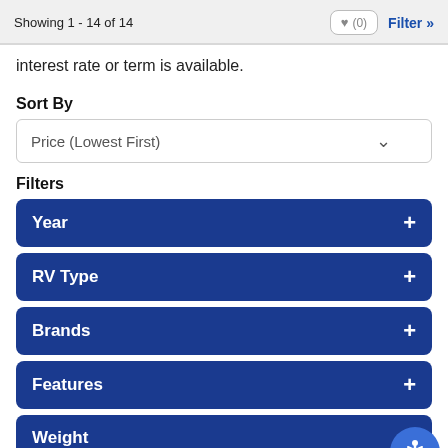Showing 1 - 14 of 14
interest rate or term is available.
Sort By
Price (Lowest First)
Filters
Year +
RV Type +
Brands +
Features +
Weight +
Sleeps +
Price Range +